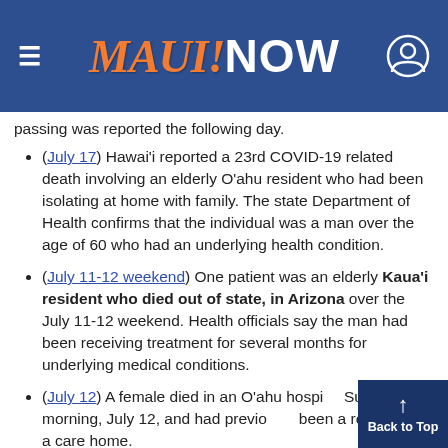MAUI NOW
passing was reported the following day.
(July 17) Hawai'i reported a 23rd COVID-19 related death involving an elderly O'ahu resident who had been isolating at home with family. The state Department of Health confirms that the individual was a man over the age of 60 who had an underlying health condition.
(July 11-12 weekend) One patient was an elderly Kaua'i resident who died out of state, in Arizona over the July 11-12 weekend. Health officials say the man had been receiving treatment for several months for underlying medical conditions.
(July 12) A female died in an O'ahu hospital Sunday morning, July 12, and had previously been a resident of a care home.